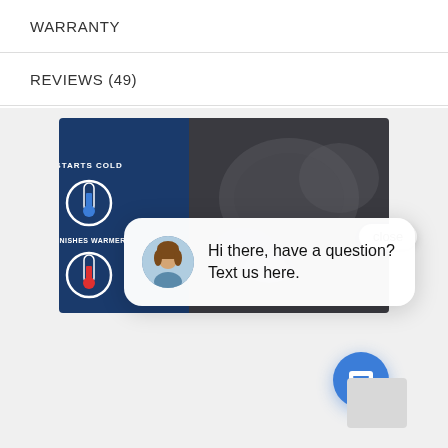WARRANTY
REVIEWS (49)
[Figure (screenshot): Screenshot of a product page showing a promotional video/image with 'STARTS COLD' and 'FINISHES WARMER' thermometer icons on a blue background with laundry imagery, overlaid by a chat widget popup saying 'Hi there, have a question? Text us here.' with an avatar photo and a close button, plus a blue chat bubble button in the corner.]